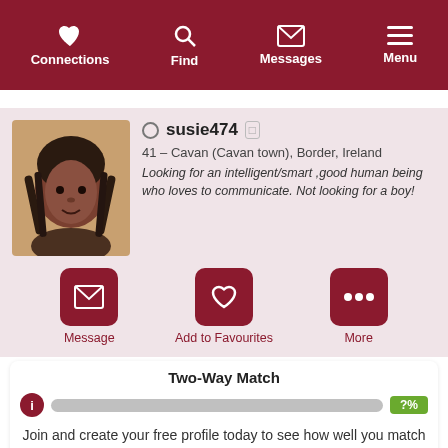Connections | Find | Messages | Menu
[Figure (screenshot): Profile photo of a woman with braided hair]
susie474
41 – Cavan (Cavan town), Border, Ireland
Looking for an intelligent/smart ,good human being who loves to communicate. Not looking for a boy!
Message | Add to Favourites | More
Two-Way Match
?%
Join and create your free profile today to see how well you match with her, and hundreds more.
Join now
Online: More than 6 months ago